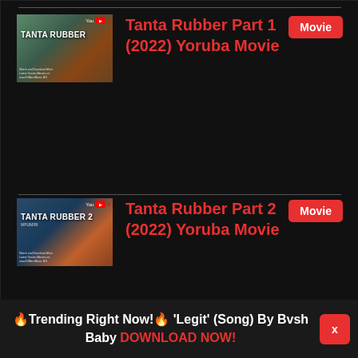[Figure (screenshot): Thumbnail image for Tanta Rubber Part 1 movie - shows child with movie title overlay]
Tanta Rubber Part 1 (2022) Yoruba Movie
Movie
[Figure (screenshot): Thumbnail image for Tanta Rubber Part 2 movie - shows two people with movie title overlay]
Tanta Rubber Part 2 (2022) Yoruba Movie
Movie
🔥Trending Right Now!🔥 'Legit' (Song) By Bvsh Baby DOWNLOAD NOW!